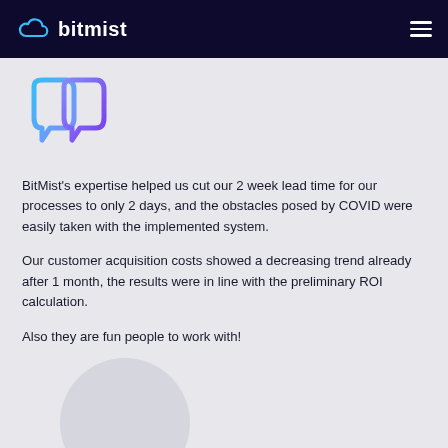bitmist
[Figure (logo): Double D chat bubble logo in blue-to-purple gradient]
BitMist's expertise helped us cut our 2 week lead time for our processes to only 2 days, and the obstacles posed by COVID were easily taken with the implemented system.
Our customer acquisition costs showed a decreasing trend already after 1 month, the results were in line with the preliminary ROI calculation.
Also they are fun people to work with!